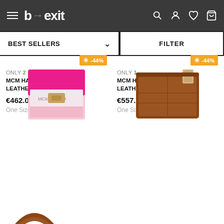[Figure (screenshot): b→exit e-commerce website header with hamburger menu, logo, and icons for search, account, wishlist, and cart on dark grey background]
BEST SELLERS ∨
FILTER
[Figure (photo): MCM handbag in fuchsia pink and white leather with logo pattern and gold clasp]
☀ -44%
ONLY 2
MCM HANDBAGS WOMEN LEATHER FUCHSIA PINK
€462.00  €825.00
One Size
[Figure (photo): MCM handbag in brown leather with stitching detail]
☀ -44%
ONLY 1
MCM HANDBAGS WOMEN LEATHER BROWN LEATHER
€557.20  €995.00
One Size
[Figure (photo): Partial view of brown leather handbag handle at bottom of page]